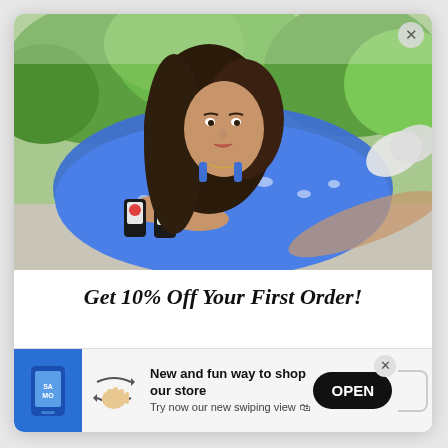[Figure (photo): Young woman in a blue floral dress lying outdoors on a surface, holding two small dark bottles of product, with green trees in the background. Promotional/influencer photo for a health or wellness product.]
Get 10% Off Your First Order!
[Figure (infographic): A promotional app banner at the bottom of the modal. Left side shows a blue icon with a phone/store graphic. Next is a swipe/hand gesture icon. Text reads 'New and fun way to shop our store / Try now our new swiping view 🛍'. A black rounded 'OPEN' button is on the right, with a close X button above it and a bracket corner element.]